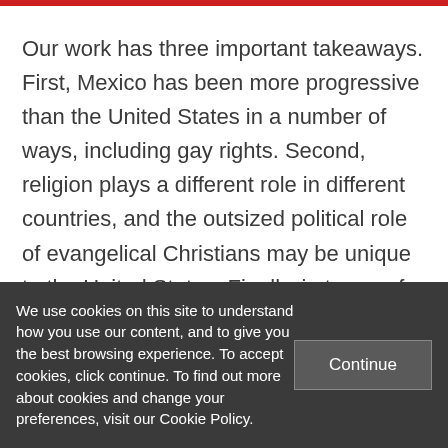Our work has three important takeaways. First, Mexico has been more progressive than the United States in a number of ways, including gay rights. Second, religion plays a different role in different countries, and the outsized political role of evangelical Christians may be unique to the United States. Finally, in terms of methodology, different levels of analysis may produce
We use cookies on this site to understand how you use our content, and to give you the best browsing experience. To accept cookies, click continue. To find out more about cookies and change your preferences, visit our Cookie Policy.